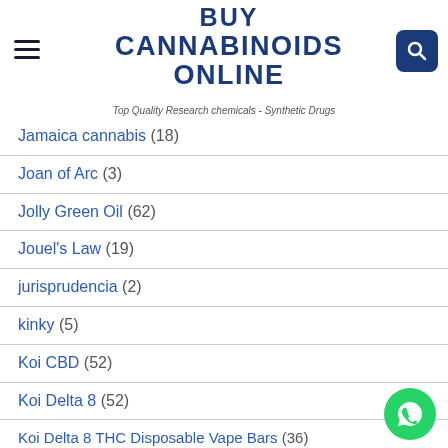BUY CANNABINOIDS ONLINE
Top Quality Research chemicals - Synthetic Drugs
Jamaica cannabis (18)
Joan of Arc (3)
Jolly Green Oil (62)
Jouel's Law (19)
jurisprudencia (2)
kinky (5)
Koi CBD (52)
Koi Delta 8 (52)
Koi Delta 8 THC Disposable Vape Bars (36)